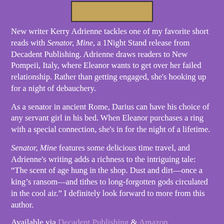[Figure (photo): Book cover image for Senator, Mine at top of page]
New writer Kerry Adrienne tackles one of my favorite short reads with Senator, Mine, a 1Night Stand release from Decadent Publishing. Adrienne draws readers to New Pompeii, Italy, where Eleanor wants to get over her failed relationship. Rather than getting engaged, she's hooking up for a night of debauchery.
As a senator in ancient Rome, Darius can have his choice of any servant girl in his bed. When Eleanor purchases a ring with a special connection, she's in for the night of a lifetime.
Senator, Mine features some delicious time travel, and Adrienne's writing adds a richness to the intriguing tale: “The scent of age hung in the shop. Dust and dirt—once a king’s ransom—and tithes to long-forgotten gods circulated in the cool air.” I definitely look forward to more from this author.
Available via Decadent Publishing & Amazon.
Visit Kerry Online:
https://www.facebook.com/pages/KerryAdrienne/216668511686869